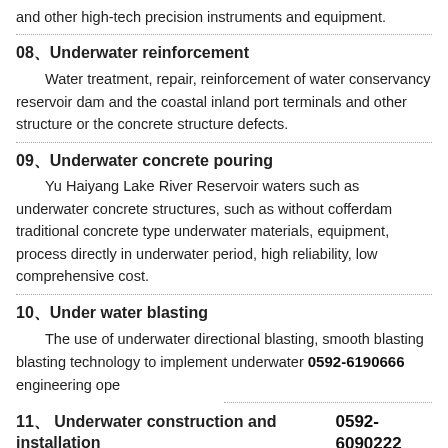and other high-tech precision instruments and equipment.
08、Underwater reinforcement
Water treatment, repair, reinforcement of water conservancy reservoir dam and the coastal inland port terminals and other structure or the concrete structure defects.
09、Underwater concrete pouring
Yu Haiyang Lake River Reservoir waters such as underwater concrete structures, such as without cofferdam traditional concrete type underwater materials, equipment, process directly in underwater period, high reliability, low comprehensive cost.
10、Under water blasting
The use of underwater directional blasting, smooth blasting blasting technology to implement underwater engineering ope...
0592-6190666
11、 Underwater construction and installation
0592-6090222
Direct construction of various reinforced concrete structu...